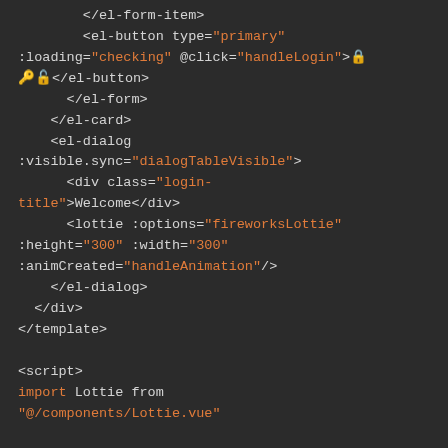Code snippet showing Vue.js template and script with el-form-item, el-button, el-card, el-dialog components and Lottie animation imports